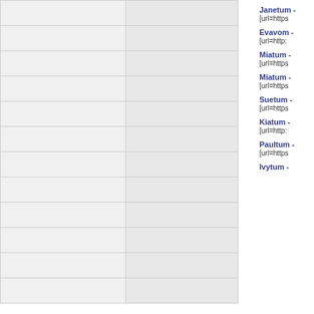|  |  |
|  |  |
|  |  |
|  |  |
|  |  |
|  |  |
|  |  |
|  |  |
|  |  |
|  |  |
|  |  |
|  |  |
Janetum -
[url=https
Evavom -
[url=http:
Miatum -
[url=https
Miatum -
[url=https
Suetum -
[url=https
Kiatum -
[url=http:
Paultum -
[url=https
Ivytum -